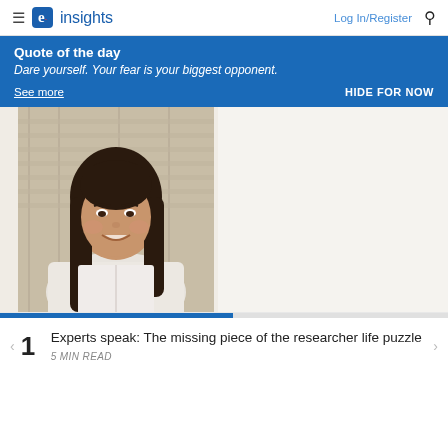≡ e. insights | Log In/Register 🔍
Quote of the day
Dare yourself. Your fear is your biggest opponent.
See more
HIDE FOR NOW
[Figure (photo): A woman with long dark hair smiling, wearing a white outfit, seated against a window with shutters.]
1  Experts speak: The missing piece of the researcher life puzzle
5 MIN READ